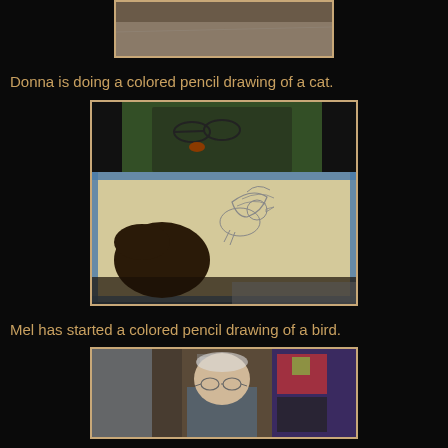[Figure (photo): Partial view of a colored pencil drawing, top of the page cropped]
Donna is doing a colored pencil drawing of a cat.
[Figure (photo): A hand drawing a bird outline on paper taped to a board, with reference images visible above]
Mel has started a colored pencil drawing of a bird.
[Figure (photo): A person (partially visible, showing head and shoulders) standing in a room with artwork visible in the background]